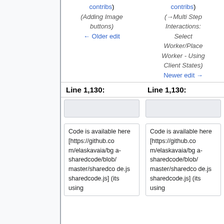contribs) (Adding Image buttons) ← Older edit
contribs) (→Multi Step Interactions: Select Worker/Place Worker - Using Client States) Newer edit →
Line 1,130:
Line 1,130:
Code is available here [https://github.com/elaskavaia/bga-sharedcode/blob/master/sharedcode.js sharedcode.js] (its using...
Code is available here [https://github.com/elaskavaia/bga-sharedcode/blob/master/sharedcode.js sharedcode.js] (its using...